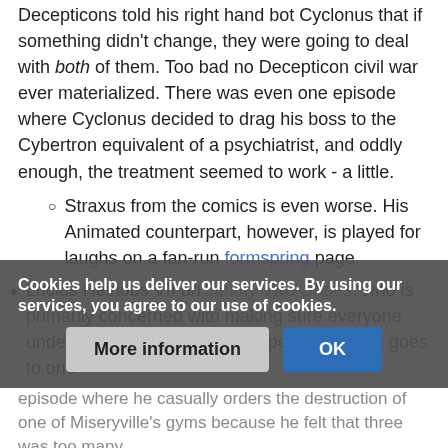Decepticons told his right hand bot Cyclonus that if something didn't change, they were going to deal with both of them. Too bad no Decepticon civil war ever materialized. There was even one episode where Cyclonus decided to drag his boss to the Cybertron equivalent of a psychiatrist, and oddly enough, the treatment seemed to work - a little.
Straxus from the comics is even worse. His Animated counterpart, however, is played for laughs on a fan-run formspring page.
Lucius Heinous VII on Jimmy Two-Shoes, who is primarily concerned with making sure everyone under his reign is Miserable. Special mention goes to one episode where he casually orders the destruction of one of Miseryville's gyms because he felt that three was too many.
A tame example occurs in the any this Enjoy: Friendshe
Cookies help us deliver our services. By using our services, you agree to our use of cookies.